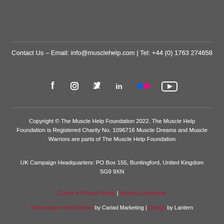Contact Us – Email: info@musclehelp.com | Tel: +44 (0) 1763 274658
[Figure (other): Social media icons: Facebook, Instagram, Twitter, LinkedIn, Flickr, YouTube]
Copyright © The Muscle Help Foundation 2022. The Muscle Help Foundation is Registered Charity No. 1096716 Muscle Dreams and Muscle Warriors are parts of The Muscle Help Foundation
UK Campaign Headquarters: PO Box 155, Buntingford, United Kingdom SG9 9XN
Cookie & Privacy Policy | Website Disclaimer
Web design Hertfordshire by Cariad Marketing | Design by Lantern